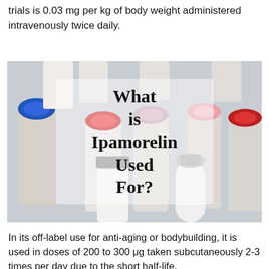trials is 0.03 mg per kg of body weight administered intravenously twice daily.
[Figure (photo): Photo of multiple pharmaceutical vials with colored caps (blue, red, pink, silver) arranged together, with text overlay reading 'What is Ipamorelin Used For?' on a semi-transparent white background]
In its off-label use for anti-aging or bodybuilding, it is used in doses of 200 to 300 μg taken subcutaneously 2-3 times per day due to the short half-life.